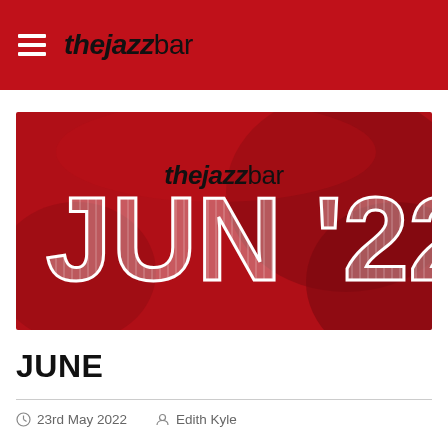thejazzbar
[Figure (illustration): Red banner image for thejazzbar June 2022 with large white bold text reading 'JUN '22' and 'thejazzbar' text above on a dark red background with abstract red shapes]
JUNE
23rd May 2022  Edith Kyle